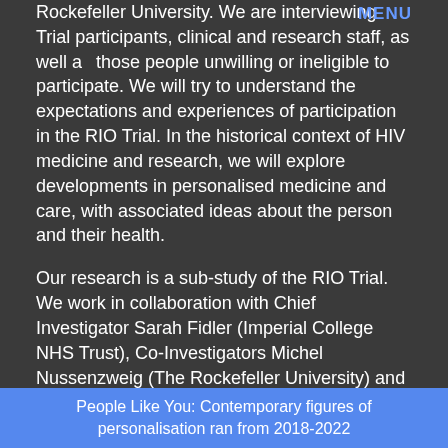Rockefeller University. We are interviewing Trial participants, clinical and research staff, as well as those people unwilling or ineligible to participate. We will try to understand the expectations and experiences of participation in the RIO Trial. In the historical context of HIV medicine and research, we will explore developments in personalised medicine and care, with associated ideas about the person and their health.
Our research is a sub-study of the RIO Trial. We work in collaboration with Chief Investigator Sarah Fidler (Imperial College NHS Trust), Co-Investigators Michel Nussenzweig (The Rockefeller University) and John Frater (University of Oxford), Trial staff and community representatives.
Ethics for the RIO Trial and our sub-study was approved by the NHS Health Research Authority, London – Westminster Research Ethics Committee, 19/LO/1669.
People Like You: Contemporary figures of personalisation ran from 2018-2022